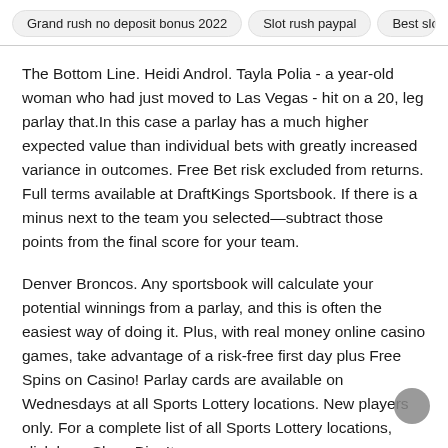Grand rush no deposit bonus 2022 | Slot rush paypal | Best slots t
The Bottom Line. Heidi Androl. Tayla Polia - a year-old woman who had just moved to Las Vegas - hit on a 20, leg parlay that.In this case a parlay has a much higher expected value than individual bets with greatly increased variance in outcomes. Free Bet risk excluded from returns. Full terms available at DraftKings Sportsbook. If there is a minus next to the team you selected—subtract those points from the final score for your team.
Denver Broncos. Any sportsbook will calculate your potential winnings from a parlay, and this is often the easiest way of doing it. Plus, with real money online casino games, take advantage of a risk-free first day plus Free Spins on Casino! Parlay cards are available on Wednesdays at all Sports Lottery locations. New players only. For a complete list of all Sports Lottery locations, click here.Show Bio. It seems